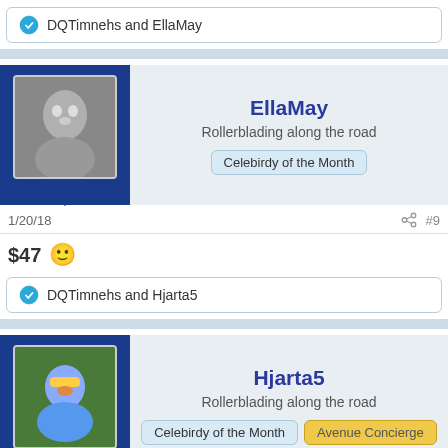DQTimnehs and EllaMay
[Figure (photo): Avatar photo of a bird (EllaMay) on blue background]
EllaMay
Rollerblading along the road
Celebirdy of the Month
1/20/18   #9
$47
DQTimnehs and Hjarta5
[Figure (photo): Avatar photo of a bird (Hjarta5) on blue background]
Hjarta5
Rollerblading along the road
Celebirdy of the Month   Avenue Concierge
1/20/18   #10